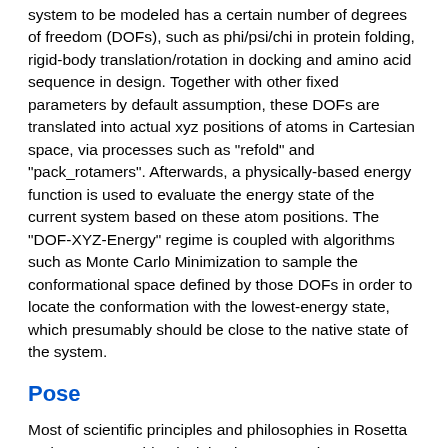system to be modeled has a certain number of degrees of freedom (DOFs), such as phi/psi/chi in protein folding, rigid-body translation/rotation in docking and amino acid sequence in design. Together with other fixed parameters by default assumption, these DOFs are translated into actual xyz positions of atoms in Cartesian space, via processes such as "refold" and "pack_rotamers". Afterwards, a physically-based energy function is used to evaluate the energy state of the current system based on these atom positions. The "DOF-XYZ-Energy" regime is coupled with algorithms such as Monte Carlo Minimization to sample the conformational space defined by those DOFs in order to locate the conformation with the lowest-energy state, which presumably should be close to the native state of the system.
Pose
Most of scientific principles and philosophies in Rosetta and Rosetta are identical, but in Rosetta, they are realized and coded in a relatively different way, taking full advantage of C++ object-oriented programming techniques. Among these objects, "Pose" is probably the essential one and it stays at the most upper level. "Pose" in Rosetta is similar to that in Rosetta in a way that it represents a certain state of molecular system to be modeled or simulated, such as protein, nucleic acid, small chemical ligand, and complexes with any combination of them. It stores information of chemical compositions and DOFs of the system. It can receive instructions on what changes are to be